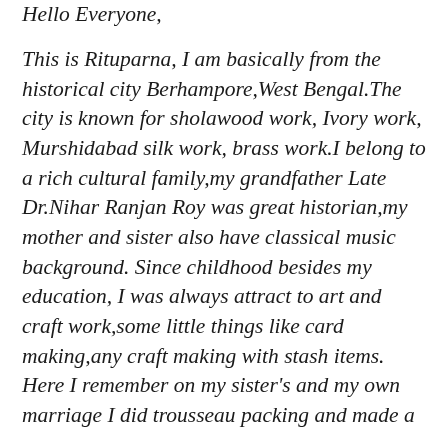Hello Everyone,
This is Rituparna, I am basically from the historical city Berhampore,West Bengal.The city is known for sholawood work, Ivory work, Murshidabad silk work, brass work.I belong to a rich cultural family,my grandfather Late Dr.Nihar Ranjan Roy was great historian,my mother and sister also have classical music background. Since childhood besides my education, I was always attract to art and craft work,some little things like card making,any craft making with stash items. Here I remember on my sister's and my own marriage I did trousseau packing and made a